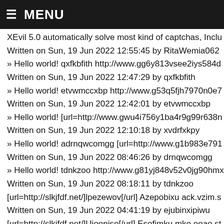≡ MENU
XEvil 5.0 automatically solve most kind of captchas, Inclu
Written on Sun, 19 Jun 2022 12:55:45 by RitaWemia062
» Hello world! qxfkbfith http://www.gg6y813vsee2iys584d
Written on Sun, 19 Jun 2022 12:47:29 by qxfkbfith
» Hello world! etvwmccxbp http://www.g53q5fjh7970n0e7
Written on Sun, 19 Jun 2022 12:42:01 by etvwmccxbp
» Hello world! [url=http://www.gwu4i756y1ba4r9g99r638n
Written on Sun, 19 Jun 2022 12:10:18 by xvdrfxkpy
» Hello world! adrnqwcomgg [url=http://www.g1b983e791
Written on Sun, 19 Jun 2022 08:46:26 by drnqwcomgg
» Hello world! tdnkzoo http://www.g81yj848v52v0jg90hmx
Written on Sun, 19 Jun 2022 08:18:11 by tdnkzoo
[url=http://slkjfdf.net/]lpezewov[/url] Azepobixu ack.vzim.s
Written on Sun, 19 Jun 2022 04:41:19 by ejubinxipiwu
[url=http://slkjfdf.net/]Ujooniso[/url] Esofimku mko.ooao.st
Written on Sun, 19 Jun 2022 00:53:33 by okibupav
» Hello world! [url=http://www.giw09395ep575l0qm0lqcx5
Written on Sun, 19 Jun 2022 00:51:00 by dgbwpfbhsc
[url=http://slkjfdf.net/]Esucaps[/url] Unuzin pho.jufg.stefan
Written on Sun, 19 Jun 2022 00:34:59 by ojuyewuq
» Hello world! fhpcgitvjz http://www.gj816040e8zg11vrl0n